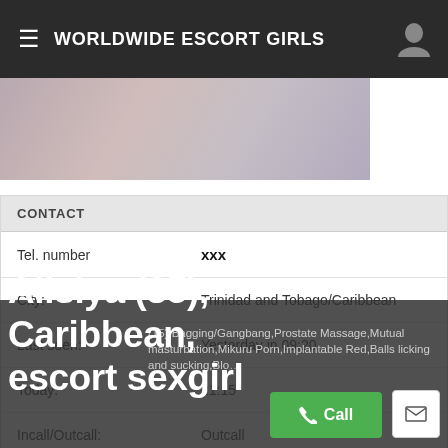WORLDWIDE ESCORT GIRLS
[Figure (photo): Partial photo of a person, cropped showing upper body]
| Field | Value |
| --- | --- |
| Tel. number | xxx |
| City: | Trinidad and Tobago/Caribbean |
| Last seen: | Yesterday in 09:20 |
| Today: | 21:15 |
| Incall/Outcall: | Outcall |
| Speak: | English |
| Services: | Rim Job/Riming/Svarta kyssar.,Ball Licking (15),Bagging/Gangbang,Prostate Massage,Mutual masturbation,Mikuru Porn,Implants,Double Red,Balls licking and sucking,Blo... |
Alisiya (35), Caribbean, escort sexgirl